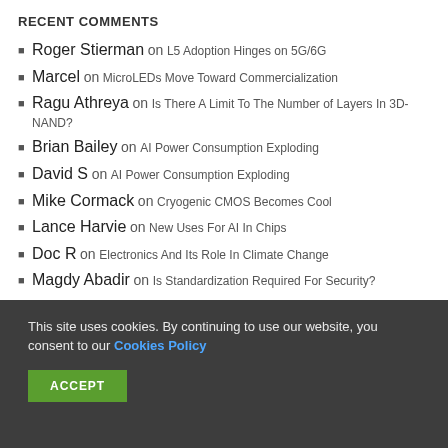RECENT COMMENTS
Roger Stierman on L5 Adoption Hinges on 5G/6G
Marcel on MicroLEDs Move Toward Commercialization
Ragu Athreya on Is There A Limit To The Number of Layers In 3D-NAND?
Brian Bailey on AI Power Consumption Exploding
David S on AI Power Consumption Exploding
Mike Cormack on Cryogenic CMOS Becomes Cool
Lance Harvie on New Uses For AI In Chips
Doc R on Electronics And Its Role In Climate Change
Magdy Abadir on Is Standardization Required For Security?
This site uses cookies. By continuing to use our website, you consent to our Cookies Policy ACCEPT